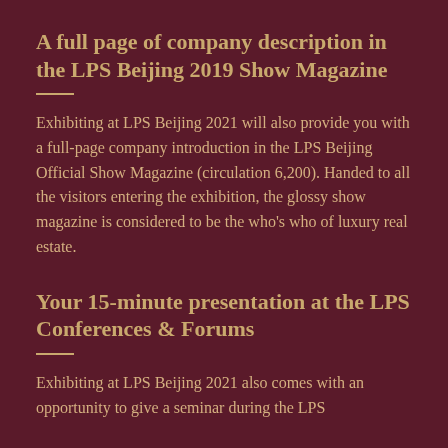A full page of company description in the LPS Beijing 2019 Show Magazine
Exhibiting at LPS Beijing 2021 will also provide you with a full-page company introduction in the LPS Beijing Official Show Magazine (circulation 6,200). Handed to all the visitors entering the exhibition, the glossy show magazine is considered to be the who's who of luxury real estate.
Your 15-minute presentation at the LPS Conferences & Forums
Exhibiting at LPS Beijing 2021 also comes with an opportunity to give a seminar during the LPS